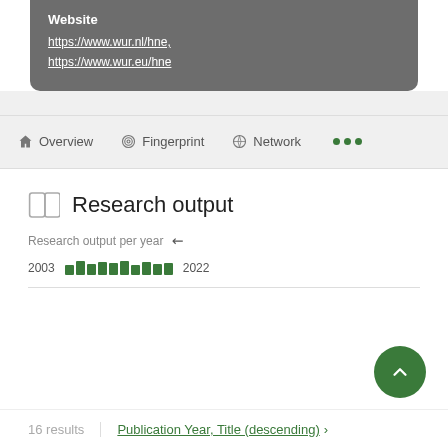Website
https://www.wur.nl/hne,
https://www.wur.eu/hne
Overview  Fingerprint  Network  ...
Research output
Research output per year
2003 [bar chart] 2022
16 results  |  Publication Year, Title (descending)  ›